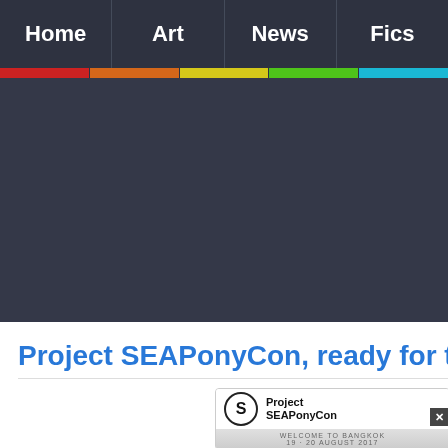Home | Art | News | Fics
[Figure (screenshot): Dark navigation header area with color bar stripes (red, orange, yellow, green, cyan) beneath nav items]
Project SEAPonyCon, ready for tak
[Figure (logo): Project SEAPonyCon logo with circular S icon and text. Banner: WELCOME TO BANGKOK 19 - 20 AUGUST 2017]